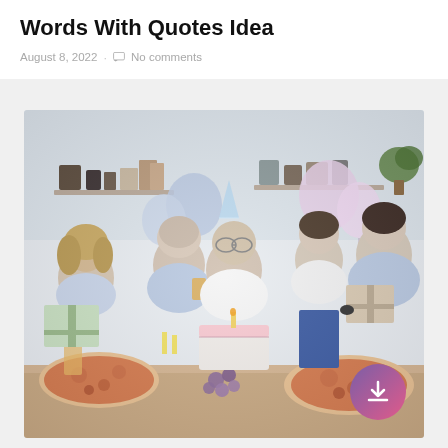Words With Quotes Idea
August 8, 2022 · No comments
[Figure (photo): A family birthday celebration scene. An older woman in a white blouse blows out candles on a birthday cake while surrounded by family members including a young woman, an elderly man holding a drink, a teenage boy, and a younger man holding a gift box. A table in the foreground has pizza, grapes, and drinks. Balloons and kitchen shelves are visible in the background. A purple-pink gradient download button is overlaid in the bottom right corner.]